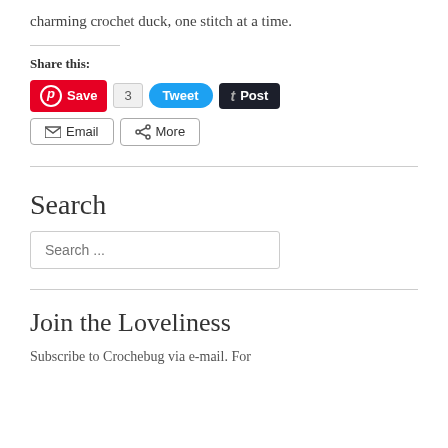charming crochet duck, one stitch at a time.
Share this:
[Figure (screenshot): Social sharing buttons: Pinterest Save, Tweet (count 3), Tumblr Post, Email, More]
Search
Search ...
Join the Loveliness
Subscribe to Crochebug via e-mail. For